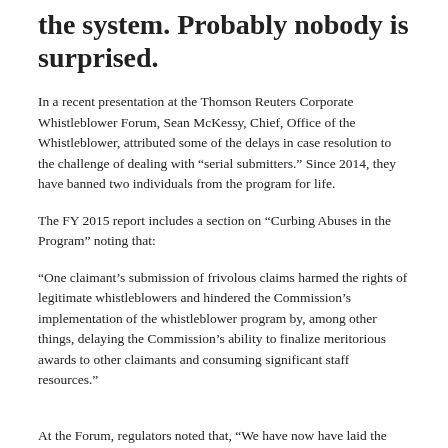the system. Probably nobody is surprised.
In a recent presentation at the Thomson Reuters Corporate Whistleblower Forum, Sean McKessy, Chief, Office of the Whistleblower, attributed some of the delays in case resolution to the challenge of dealing with “serial submitters.” Since 2014, they have banned two individuals from the program for life.
The FY 2015 report includes a section on “Curbing Abuses in the Program” noting that:
“One claimant’s submission of frivolous claims harmed the rights of legitimate whistleblowers and hindered the Commission’s implementation of the whistleblower program by, among other things, delaying the Commission’s ability to finalize meritorious awards to other claimants and consuming significant staff resources.”
At the Forum, regulators noted that, “We have now have laid the